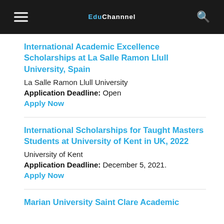EduChannal
International Academic Excellence Scholarships at La Salle Ramon Llull University, Spain
La Salle Ramon Llull University
Application Deadline: Open
Apply Now
International Scholarships for Taught Masters Students at University of Kent in UK, 2022
University of Kent
Application Deadline: December 5, 2021.
Apply Now
Marian University Saint Clare Academic